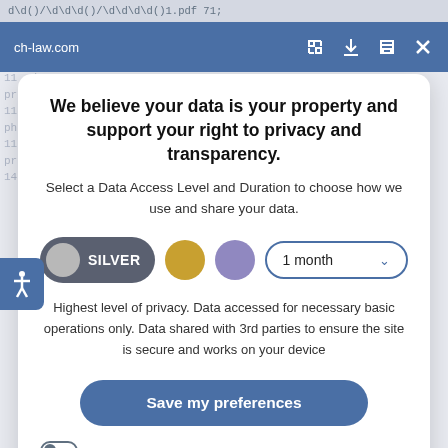d\d()/\d\d\d()/\d\d\d\d()1.pdf 71;
ch-law.com
We believe your data is your property and support your right to privacy and transparency.
Select a Data Access Level and Duration to choose how we use and share your data.
SILVER | 1 month
Highest level of privacy. Data accessed for necessary basic operations only. Data shared with 3rd parties to ensure the site is secure and works on your device
Save my preferences
Customize
Privacy policy